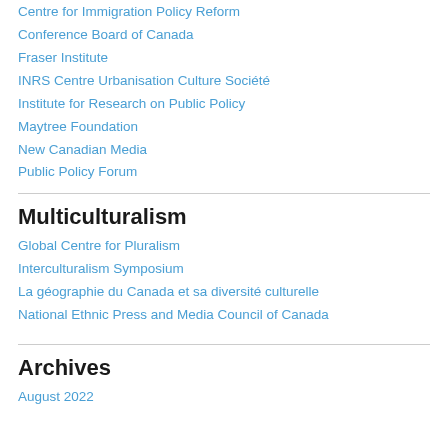Centre for Immigration Policy Reform
Conference Board of Canada
Fraser Institute
INRS Centre Urbanisation Culture Société
Institute for Research on Public Policy
Maytree Foundation
New Canadian Media
Public Policy Forum
Multiculturalism
Global Centre for Pluralism
Interculturalism Symposium
La géographie du Canada et sa diversité culturelle
National Ethnic Press and Media Council of Canada
Archives
August 2022